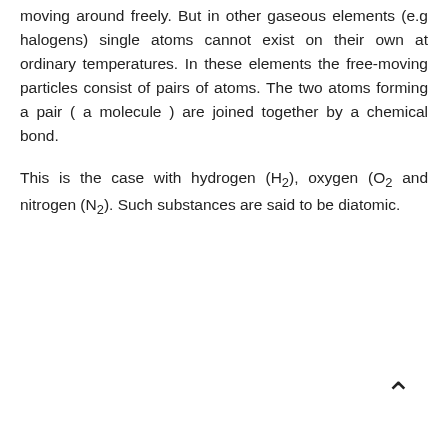moving around freely. But in other gaseous elements (e.g halogens) single atoms cannot exist on their own at ordinary temperatures. In these elements the free-moving particles consist of pairs of atoms. The two atoms forming a pair ( a molecule ) are joined together by a chemical bond.
This is the case with hydrogen (H₂), oxygen (O₂ and nitrogen (N₂). Such substances are said to be diatomic.